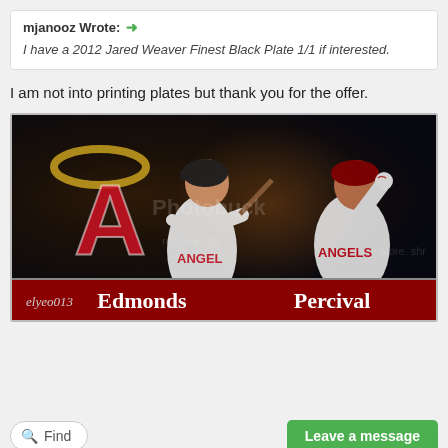mjanooz Wrote: →
I have a 2012 Jared Weaver Finest Black Plate 1/1 if interested.
I am not into printing plates but thank you for the offer.
[Figure (photo): Baseball card image featuring Angels players Edmonds and Percival in Angels uniforms with Angels logo. Red banner at bottom shows 'elyeo013  Edmonds  Percival' in old English font.]
Find
Leave a message